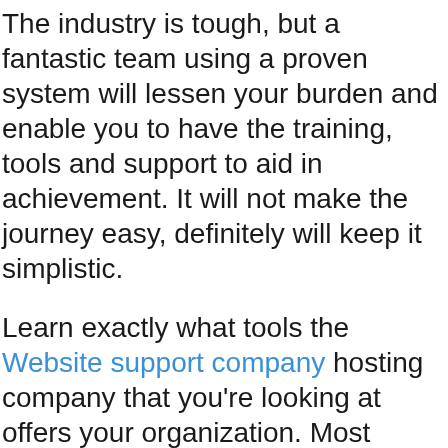The industry is tough, but a fantastic team using a proven system will lessen your burden and enable you to have the training, tools and support to aid in achievement. It will not make the journey easy, definitely will keep it simplistic.
Learn exactly what tools the Website support company hosting company that you're looking at offers your organization. Most companies will have a with built in control panel that will do things like upload unique files. You may also have tools than enable you to log in and do things like check just how much traffic arrived at your site and where it came from too. While you learn in regards to the control panel on a website host, concept what regarding files it allows you to include in your website. You're going to want to have the ability to upload such as CSS or PHP files if web page requires